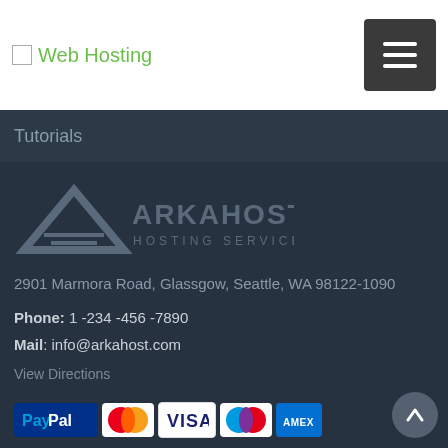Web Hosting
Tutorials
[Figure (logo): ARKAHOST HOSTING SERVICES logo with triangle/mountain icon in grey tones]
2901 Marmora Road, Glassgow, Seattle, WA 98122-1090
Phone: 1 -234 -456 -7890
Mail: info@arkahost.com
View Directions
[Figure (other): Payment method logos: PayPal, MasterCard, Visa, Maestro, American Express]